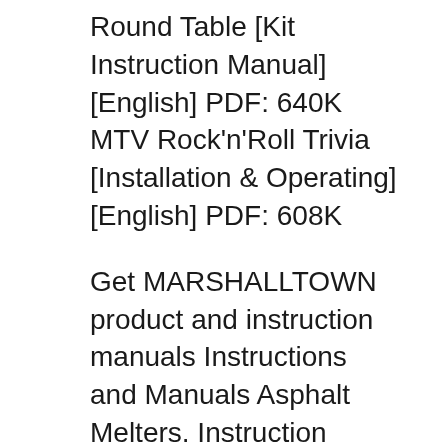Round Table [Kit Instruction Manual] [English] PDF: 640K MTV Rock'n'Roll Trivia [Installation & Operating] [English] PDF: 608K
Get MARSHALLTOWN product and instruction manuals Instructions and Manuals Asphalt Melters. Instruction Sheets/Safety Instructions and Replacement Parts for The Rockin' Roller 3 is the latest wireless Bluetooth speaker for indoors and outdoors in the Monster Download User Manual Download Quick Start Rock . 4. Pop . 5.
Catalogue (204), Instruction manual & Mounting instruction (120), Test report that are of use on EN 400 EYEWASH...